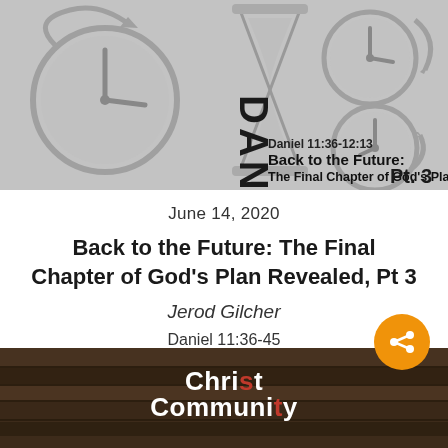[Figure (illustration): Book series banner for 'Daniel' with hourglass and clocks imagery. Text reads 'Daniel 11:36-12:13 Back to the Future: The Final Chapter of God's Plan Revealed Pt. 3']
June 14, 2020
Back to the Future: The Final Chapter of God's Plan Revealed, Pt 3
Jerod Gilcher
Daniel 11:36-45
LISTEN
[Figure (logo): Christ Community church logo on wooden background with white text]